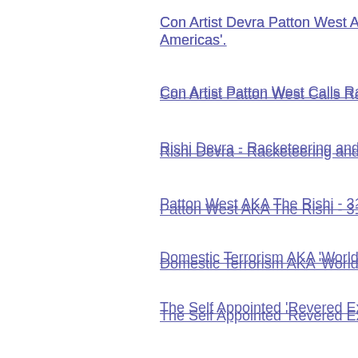Con Artist Devra Patton West Appoints Her Americas'.
Con Artist Patton West Calls Racketeering
Rishi Devra - Racketeering and Murder All
Patton West AKA The Rishi - 31 Years of D
Domestic Terrorism AKA 'World Service'
The Self Appointed 'Revered Executor of th
Geoffrey Reynolds CPA – Multiple counts o
Dr. Julio E Williams MD – Twenty one years
World Service 'Rishi Devra' Style!
'Rishi Devra' Closing Down Sale.
Rishi Devra Evicted from Rented Mansion
Rishi Devra - Is History Repeating Itself?
How Come Rishi Devra aka Devra Patton W